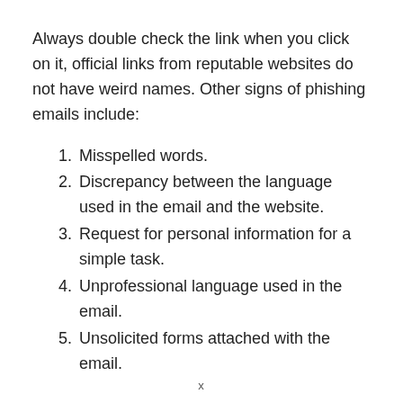Always double check the link when you click on it, official links from reputable websites do not have weird names. Other signs of phishing emails include:
Misspelled words.
Discrepancy between the language used in the email and the website.
Request for personal information for a simple task.
Unprofessional language used in the email.
Unsolicited forms attached with the email.
x